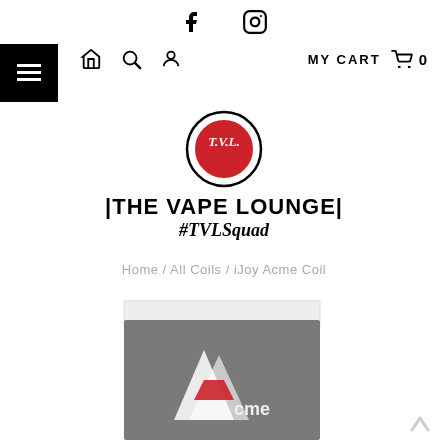[Figure (screenshot): Facebook and Instagram social media icons]
[Figure (screenshot): Navigation bar with hamburger menu, home icon, search icon, person icon, MY CART with cart icon and 0 count]
[Figure (logo): The Vape Lounge logo: circular red badge with T.V.L. script, bold text reading |THE VAPE LOUNGE| and italic #TVLSquad below]
Home / All Coils / iJoy Acme Coil
[Figure (photo): Partial product photo showing iJoy Acme branded box with grey packaging and white/red Acme logo at bottom]